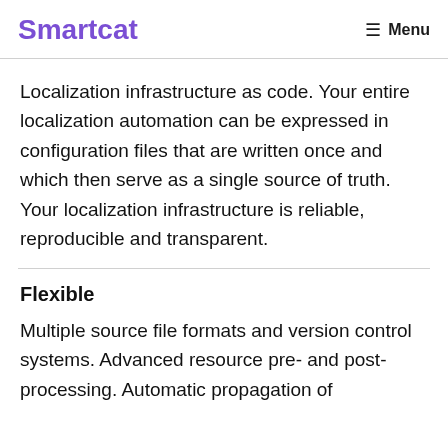Smartcat | Menu
Localization infrastructure as code. Your entire localization automation can be expressed in configuration files that are written once and which then serve as a single source of truth. Your localization infrastructure is reliable, reproducible and transparent.
Flexible
Multiple source file formats and version control systems. Advanced resource pre- and post-processing. Automatic propagation of